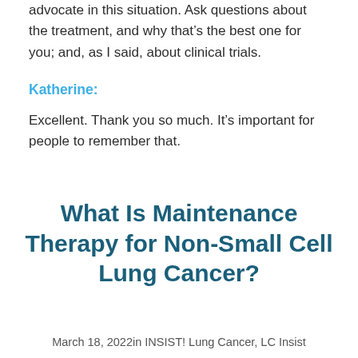advocate in this situation. Ask questions about the treatment, and why that’s the best one for you; and, as I said, about clinical trials.
Katherine:
Excellent. Thank you so much. It’s important for people to remember that.
What Is Maintenance Therapy for Non-Small Cell Lung Cancer?
March 18, 2022in INSIST! Lung Cancer, LC Insist